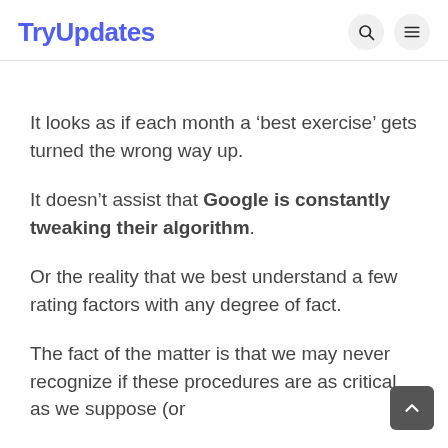TryUpdates
It looks as if each month a ‘best exercise’ gets turned the wrong way up.
It doesn’t assist that Google is constantly tweaking their algorithm.
Or the reality that we best understand a few rating factors with any degree of fact.
The fact of the matter is that we may never recognize if these procedures are as critical as we suppose (or